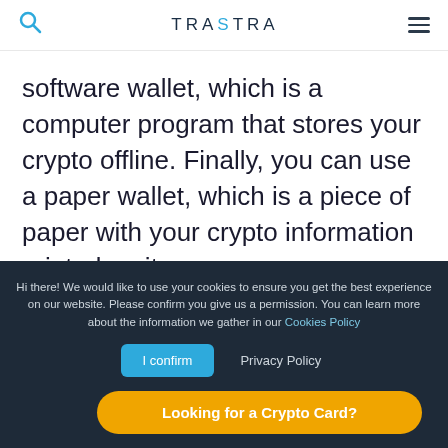TRASTRA
software wallet, which is a computer program that stores your crypto offline. Finally, you can use a paper wallet, which is a piece of paper with your crypto information printed on it.

No matter which method you choose, make
Hi there! We would like to use your cookies to ensure you get the best experience on our website. Please confirm you give us a permission. You can learn more about the information we gather in our Cookies Policy
I confirm   Privacy Policy
Looking for a Crypto Card?